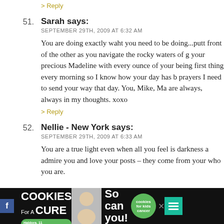I think you are very brave, with or without the face.
> Reply
51. Sarah says: SEPTEMBER 29TH, 2009 AT 6:32 AM
You are doing exactly waht you need to be doing...putt front of the other as you navigate the rocky waters of g your precious Madeline with every ounce of your being first thing every morning so I know how your day has b prayers I need to send your way that day. You, Mike, Ma are always, always in my thoughts. xoxo
> Reply
52. Nellie - New York says: SEPTEMBER 29TH, 2009 AT 6:33 AM
You are a true light even when all you feel is darkness a admire you and love your posts – they come from your who you are.
[Figure (infographic): Advertisement banner: I Bake COOKIES For A CURE - So can you! with Haldora, 11 Cancer Survivor, cookies for kids cancer logo, and social media icons]